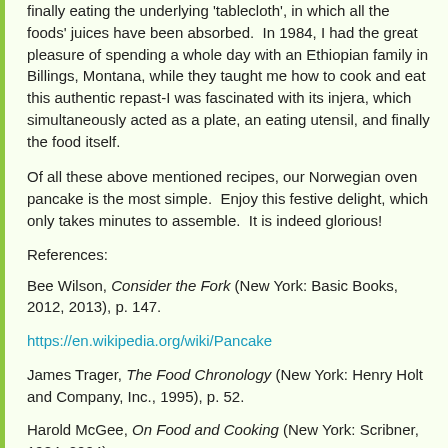finally eating the underlying 'tablecloth', in which all the foods' juices have been absorbed.  In 1984, I had the great pleasure of spending a whole day with an Ethiopian family in Billings, Montana, while they taught me how to cook and eat this authentic repast-I was fascinated with its injera, which simultaneously acted as a plate, an eating utensil, and finally the food itself.
Of all these above mentioned recipes, our Norwegian oven pancake is the most simple.  Enjoy this festive delight, which only takes minutes to assemble.  It is indeed glorious!
References:
Bee Wilson, Consider the Fork (New York: Basic Books, 2012, 2013), p. 147.
https://en.wikipedia.org/wiki/Pancake
James Trager, The Food Chronology (New York: Henry Holt and Company, Inc., 1995), p. 52.
Harold McGee, On Food and Cooking (New York: Scribner, 1984, 2004),